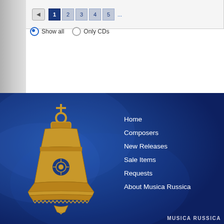[Figure (screenshot): Top section showing pagination controls with back arrow and numbered page buttons (1,2,3,4,5,...) and radio buttons for Show all / Only CDs filters]
[Figure (logo): Musica Russica website footer with golden ornate bell logo on dark blue background]
Home
Composers
New Releases
Sale Items
Requests
About Musica Russica
MUSICA RUSSICA